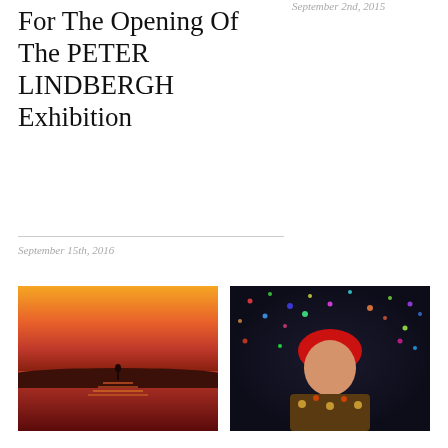September 2nd, 2015
For The Opening Of The PETER LINDBERGH Exhibition
September 15th, 2016
[Figure (photo): A person standing in a shallow body of water at sunset/dusk with vivid orange and red sky reflections]
[Figure (photo): Woman with red bob wig and patterned top posing in front of a colorful light installation]
Daydream
July 20th, 2015
GIVE ME LOVE – Yayoi Kusama
May 28th, 2015
[Figure (photo): Group of people in front of a building facade, with some figures in white in the center]
[Figure (photo): Colorful balloons arranged in a flower cluster pattern on a bright turquoise/cyan background]